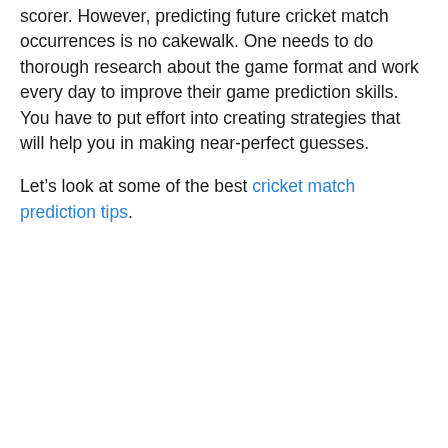scorer. However, predicting future cricket match occurrences is no cakewalk. One needs to do thorough research about the game format and work every day to improve their game prediction skills. You have to put effort into creating strategies that will help you in making near-perfect guesses.
Let’s look at some of the best cricket match prediction tips.